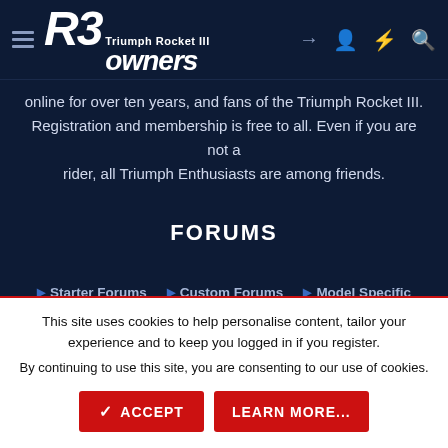R3 Triumph Rocket III owners
online for over ten years, and fans of the Triumph Rocket III. Registration and membership is free to all. Even if you are not a rider, all Triumph Enthusiasts are among friends.
FORUMS
Starter Forums
Custom Forums
Model Specific
Events
Rider Groups
Classifieds
All Forums
This site uses cookies to help personalise content, tailor your experience and to keep you logged in if you register.
By continuing to use this site, you are consenting to our use of cookies.